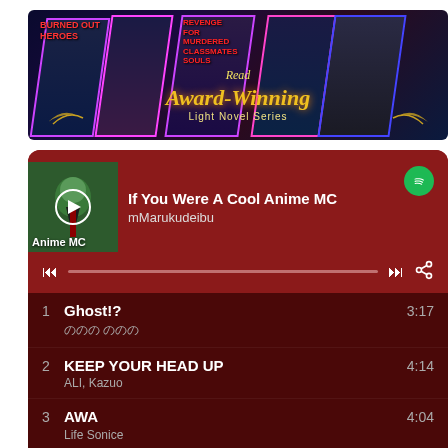[Figure (illustration): Anime light novel promotional banner reading 'Read Award-Winning Light Novel Series' with multiple manga character illustrations and diamond-framed artwork on dark background]
[Figure (screenshot): Spotify music player card showing playlist 'If You Were A Cool Anime MC' by mMarukudeibu with album art labeled 'Anime MC', progress bar, and track listing: 1. Ghost!? - 3:17, 2. KEEP YOUR HEAD UP (ALI, Kazuo) - 4:14, 3. AWA (Life Sonice) - 4:04, 4. Keep It Up (KICK THE CAN CREW) - 3:43]